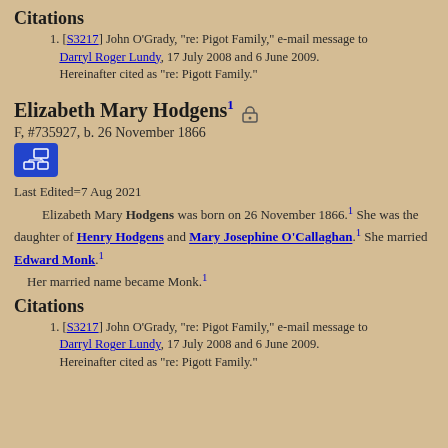Citations
[S3217] John O'Grady, "re: Pigot Family," e-mail message to Darryl Roger Lundy, 17 July 2008 and 6 June 2009. Hereinafter cited as "re: Pigott Family."
Elizabeth Mary Hodgens
F, #735927, b. 26 November 1866
Last Edited=7 Aug 2021
Elizabeth Mary Hodgens was born on 26 November 1866. She was the daughter of Henry Hodgens and Mary Josephine O'Callaghan. She married Edward Monk. Her married name became Monk.
Citations
[S3217] John O'Grady, "re: Pigot Family," e-mail message to Darryl Roger Lundy, 17 July 2008 and 6 June 2009. Hereinafter cited as "re: Pigott Family."